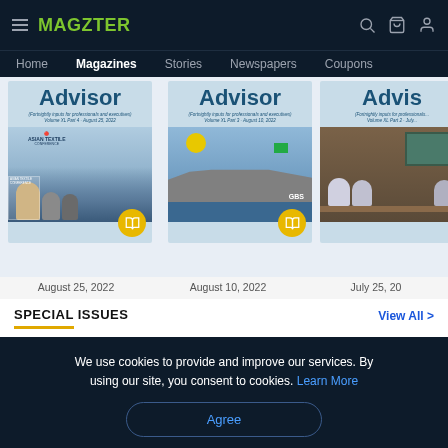MAGZTER — Home | Magazines | Stories | Newspapers | Coupons
[Figure (screenshot): Magzter website screenshot showing three Advisor magazine covers dated August 25 2022, August 10 2022, and July 25 (partial)]
August 25, 2022
August 10, 2022
July 25, 20...
SPECIAL ISSUES
View All >
We use cookies to provide and improve our services. By using our site, you consent to cookies. Learn More
Agree